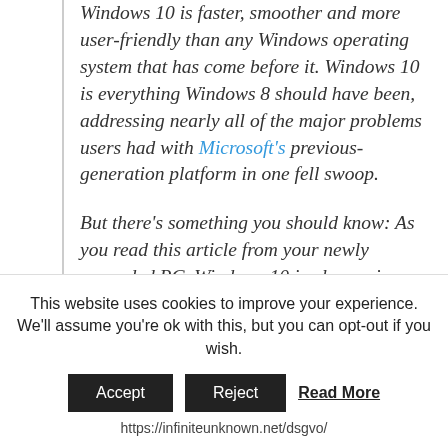Windows 10 is faster, smoother and more user-friendly than any Windows operating system that has come before it. Windows 10 is everything Windows 8 should have been, addressing nearly all of the major problems users had with Microsoft's previous-generation platform in one fell swoop.
But there's something you should know: As you read this article from your newly upgraded PC, Windows 10 is also spying on nearly everything you do.
DON'T MISS: Windows 10: The first 5 things you need to do immediately after...
This website uses cookies to improve your experience. We'll assume you're ok with this, but you can opt-out if you wish.
Accept  Reject  Read More
https://infiniteunknown.net/dsgvo/